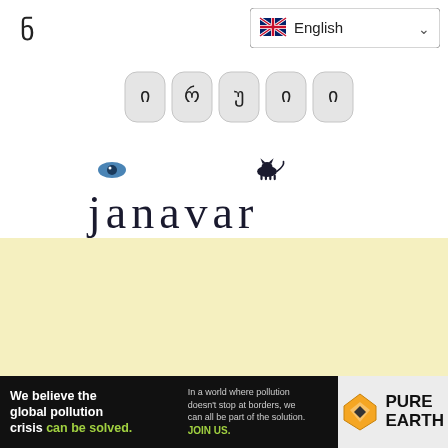ნ
[Figure (screenshot): Language selector dropdown showing UK flag and 'English' with chevron]
[Figure (screenshot): Input field row showing Georgian letters: ი რ უ ი ი in rounded pill buttons]
[Figure (logo): janavar logo with decorative eye icon above 'j' and a black cat silhouette above 'V', in serif font]
[Figure (other): Light yellow background section (empty content area)]
[Figure (other): Pure Earth advertisement banner: 'We believe the global pollution crisis can be solved.' / 'In a world where pollution doesn't stop at borders, we can all be part of the solution. JOIN US.' with Pure Earth diamond logo]